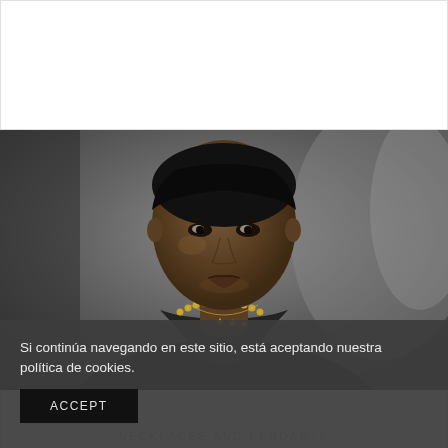[Figure (photo): A Black woman in a dark blazer wearing a gold choker necklace and a delicate gold pendant necklace, looking upward to her right. The background is blurred and neutral/dark.]
Si continúa navegando en este sitio, está aceptando nuestra política de cookies.
ACCEPT
NECKLACES AND PENDANTS